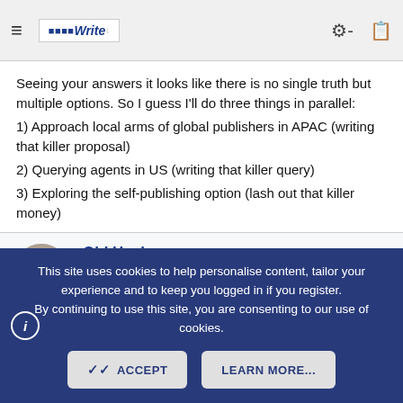≡  BetaWrite  🔑  📋
Seeing your answers it looks like there is no single truth but multiple options. So I guess I'll do three things in parallel:
1) Approach local arms of global publishers in APAC (writing that killer proposal)
2) Querying agents in US (writing that killer query)
3) Exploring the self-publishing option (lash out that killer money)
Old Hack
Such a nasty woman  Super Moderator  Absolute Sage
Super Member  Registered
This site uses cookies to help personalise content, tailor your experience and to keep you logged in if you register.
By continuing to use this site, you are consenting to our use of cookies.
✓ ACCEPT    LEARN MORE...